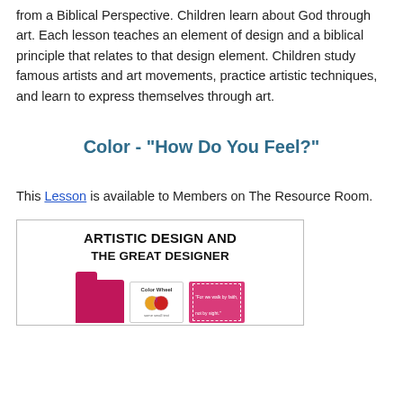from a Biblical Perspective. Children learn about God through art. Each lesson teaches an element of design and a biblical principle that relates to that design element. Children study famous artists and art movements, practice artistic techniques, and learn to express themselves through art.
Color - "How Do You Feel?"
This Lesson is available to Members on The Resource Room.
[Figure (illustration): Book cover image for 'Artistic Design and the Great Designer' showing a pink/magenta folder and cards including a Color Wheel card and a pink card with text.]